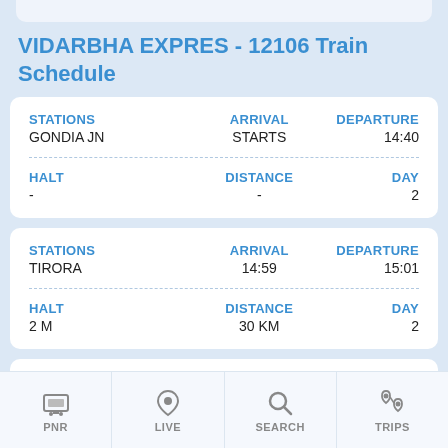VIDARBHA EXPRES - 12106 Train Schedule
| STATIONS | ARRIVAL | DEPARTURE |
| --- | --- | --- |
| GONDIA JN | STARTS | 14:40 |
| HALT | DISTANCE | DAY |
| --- | --- | --- |
| - | - | 2 |
| STATIONS | ARRIVAL | DEPARTURE |
| --- | --- | --- |
| TIRORA | 14:59 | 15:01 |
| HALT | DISTANCE | DAY |
| --- | --- | --- |
| 2 M | 30 KM | 2 |
| STATIONS | ARRIVAL | DEPARTURE |
| --- | --- | --- |
| TUMSAR ROAD | 15:17 | 15:19 |
| HALT | DISTANCE | DAY |
| --- | --- | --- |
| 2 M | 50 KM | 2 |
[Figure (screenshot): Bottom navigation bar with PNR, LIVE, SEARCH, TRIPS icons]